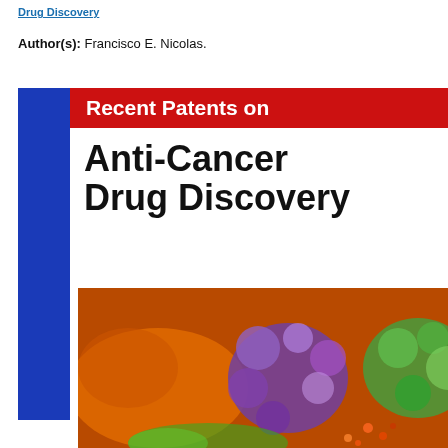Drug Discovery
Author(s): Francisco E. Nicolas.
[Figure (illustration): Book cover for 'Recent Patents on Anti-Cancer Drug Discovery' journal. Features a blue vertical sidebar on the left, a red banner with white bold text 'Recent Patents on', large black bold text 'Anti-Cancer Drug Discovery' below, and a collage of cancer cell microscopy and laboratory images at the bottom. An SCI Journal Citation Reports Impact Factor 2.95 badge is in the bottom right corner.]
Impact Factor: 2.95